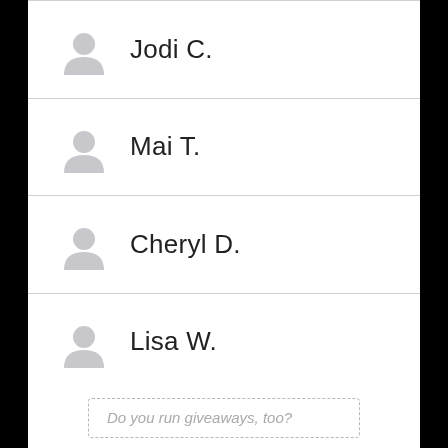Jodi C.
Mai T.
Cheryl D.
Lisa W.
Do you run giveaways, too?